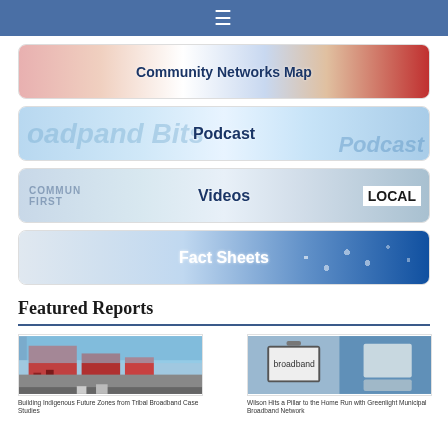☰
[Figure (screenshot): Community Networks Map navigation button with map background imagery]
[Figure (screenshot): Podcast navigation button with light blue background and watermark text]
[Figure (screenshot): Videos navigation button with community-themed background and LOCAL badge]
[Figure (screenshot): Fact Sheets navigation button with bokeh lights blue background]
Featured Reports
[Figure (photo): Report thumbnail: street scene with red buildings for Indigenous/Tribal Broadband report]
Building Indigenous Future Zones from Tribal Broadband Case Studies
[Figure (photo): Report thumbnail: hand holding smartphone for Wilson Hits a Pillar to the Home Run with Greenlight Municipal Broadband Network]
Wilson Hits a Pillar to the Home Run with Greenlight Municipal Broadband Network